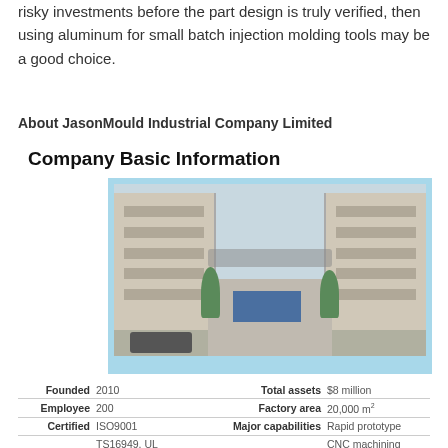risky investments before the part design is truly verified, then using aluminum for small batch injection molding tools may be a good choice.
About JasonMould Industrial Company Limited
Company Basic Information
[Figure (photo): Exterior photo of JasonMould factory building with a courtyard road, truck, car, and trees visible between two multi-story industrial buildings]
| Founded | 2010 | Total assets | $8 million |
| Employee | 200 | Factory area | 20,000 m² |
| Certified | ISO9001 | Major capabilities | Rapid prototype |
|  | TS16949, UL |  | CNC machining |
|  |  |  | Plastic Tooling and Injection |